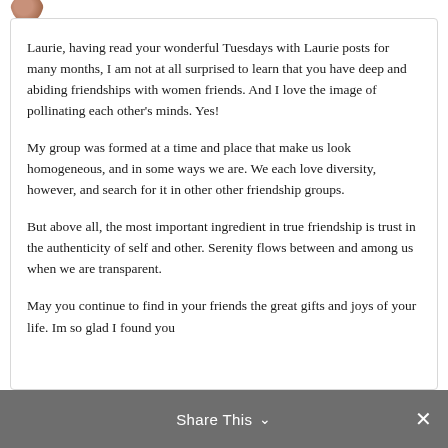[Figure (photo): Small circular profile photo of a person, partially visible at top left]
Laurie, having read your wonderful Tuesdays with Laurie posts for many months, I am not at all surprised to learn that you have deep and abiding friendships with women friends. And I love the image of pollinating each other's minds. Yes!

My group was formed at a time and place that make us look homogeneous, and in some ways we are. We each love diversity, however, and search for it in other other friendship groups.

But above all, the most important ingredient in true friendship is trust in the authenticity of self and other. Serenity flows between and among us when we are transparent.

May you continue to find in your friends the great gifts and joys of your life. Im so glad I found you
Share This ∨  ×